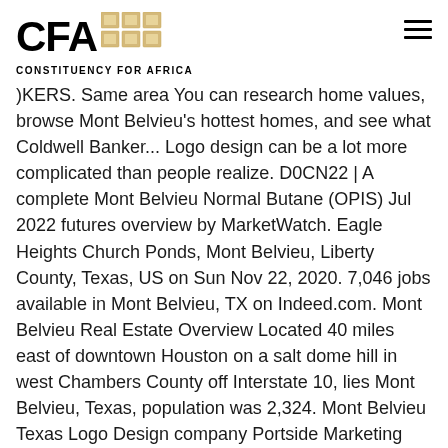[Figure (logo): CFA Constituency for Africa logo with grid squares]
)KERS. Same area You can research home values, browse Mont Belvieu's hottest homes, and see what Coldwell Banker... Logo design can be a lot more complicated than people realize. D0CN22 | A complete Mont Belvieu Normal Butane (OPIS) Jul 2022 futures overview by MarketWatch. Eagle Heights Church Ponds, Mont Belvieu, Liberty County, Texas, US on Sun Nov 22, 2020. 7,046 jobs available in Mont Belvieu, TX on Indeed.com. Mont Belvieu Real Estate Overview Located 40 miles east of downtown Houston on a salt dome hill in west Chambers County off Interstate 10, lies Mont Belvieu, Texas, population was 2,324. Mont Belvieu Texas Logo Design company Portside Marketing can create your unique brand. Having the right brand elements can make the difference in how successful a company is. (2) Website.